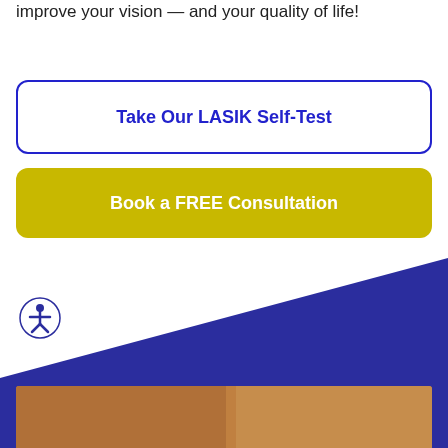improve your vision — and your quality of life!
Take Our LASIK Self-Test
Book a FREE Consultation
[Figure (illustration): Dark blue diagonal background section with accessibility icon (person in circle) in lower left, and a partial photo strip at the bottom]
[Figure (illustration): Accessibility icon: person with arms out in a circle, white icon on white-bordered circle]